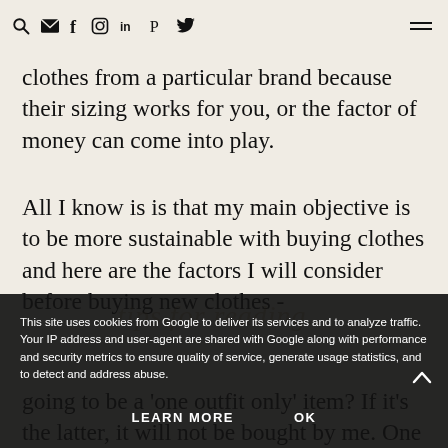Search, Email, Facebook, Instagram, LinkedIn, Pinterest, Twitter icons and hamburger menu
clothes from a particular brand because their sizing works for you, or the factor of money can come into play.
All I know is is that my main objective is to be more sustainable with buying clothes and here are the factors I will consider before buying new clothes -
This site uses cookies from Google to deliver its services and to analyze traffic. Your IP address and user-agent are shared with Google along with performance and security metrics to ensure quality of service, generate usage statistics, and to detect and address abuse.
LEARN MORE    OK
going to be a 'one outfit only' item? If it's the latter, it will not be bought by me. One thing I have found